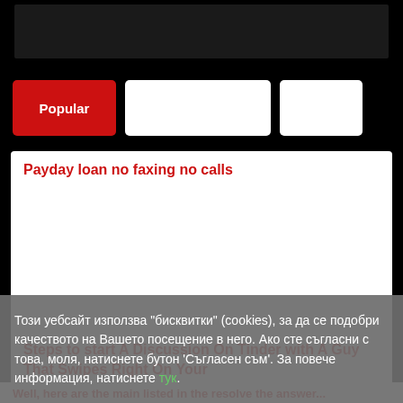[Figure (screenshot): Black top navigation bar area]
[Figure (screenshot): Navigation tabs: Popular button (red), two blank white buttons]
Payday loan no faxing no calls
Steps to start A Discussion On Tinder with A Guy That Swipes Right On Your
Този уебсайт използва "бисквитки" (cookies), за да се подобри качеството на Вашето посещение в него. Ако сте съгласни с това, моля, натиснете бутон 'Съгласен съм'. За повече информация, натиснете тук.
Съгласен съм
Well, here are the main listed in the resolve the answer...